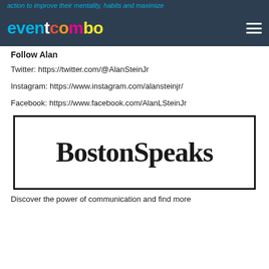action to improve their mentality, habits and maximize
[Figure (logo): Eventcombo logo with colorful letters on dark background with hamburger menu icon]
Follow Alan
Twitter: https://twitter.com/@AlanSteinJr
Instagram: https://www.instagram.com/alansteinjr/
Facebook: https://www.facebook.com/AlanLSteinJr
[Figure (logo): BostonSpeaks logo in bold serif font inside a black border rectangle]
Discover the power of communication and find more